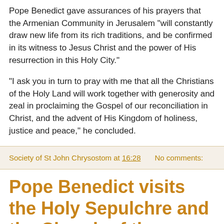Pope Benedict gave assurances of his prayers that the Armenian Community in Jerusalem "will constantly draw new life from its rich traditions, and be confirmed in its witness to Jesus Christ and the power of His resurrection in this Holy City."
"I ask you in turn to pray with me that all the Christians of the Holy Land will work together with generosity and zeal in proclaiming the Gospel of our reconciliation in Christ, and the advent of His Kingdom of holiness, justice and peace," he concluded.
Society of St John Chrysostom at 16:28   No comments:
Pope Benedict visits the Holy Sepulchre and the Church of the Resurrection